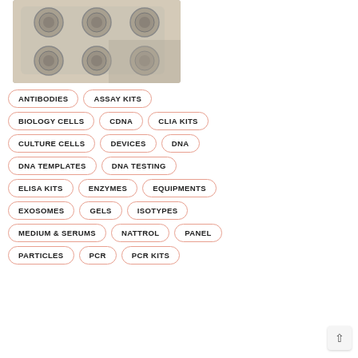[Figure (photo): Close-up photograph of a white laboratory multi-well plate tray with circular wells visible]
ANTIBODIES
ASSAY KITS
BIOLOGY CELLS
CDNA
CLIA KITS
CULTURE CELLS
DEVICES
DNA
DNA TEMPLATES
DNA TESTING
ELISA KITS
ENZYMES
EQUIPMENTS
EXOSOMES
GELS
ISOTYPES
MEDIUM & SERUMS
NATTROL
PANEL
PARTICLES
PCR
PCR KITS